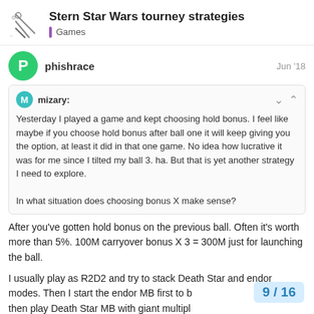Stern Star Wars tourney strategies | Games
phishrace
Jun '18
mizary:
Yesterday I played a game and kept choosing hold bonus. I feel like maybe if you choose hold bonus after ball one it will keep giving you the option, at least it did in that one game. No idea how lucrative it was for me since I tilted my ball 3. ha. But that is yet another strategy I need to explore.
In what situation does choosing bonus X make sense?
After you've gotten hold bonus on the previous ball. Often it's worth more than 5%. 100M carryover bonus X 3 = 300M just for launching the ball.
I usually play as R2D2 and try to stack Death Star and endor modes. Then I start the endor MB first to b then play Death Star MB with giant multipl